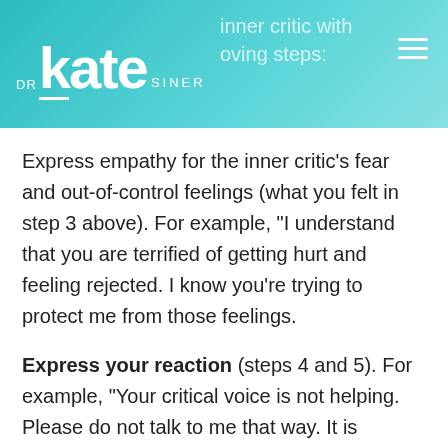DR kate SINER | inner critic with loving steps:
Express empathy for the inner critic’s fear and out-of-control feelings (what you felt in step 3 above). For example, “I understand that you are terrified of getting hurt and feeling rejected. I know you’re trying to protect me from those feelings.
Express your reaction (steps 4 and 5). For example, “Your critical voice is not helping. Please do not talk to me that way. It is preventing me from getting what I need, which is to feel connected to others. I will be OK. I will be able to cope with whatever happens. What I really need